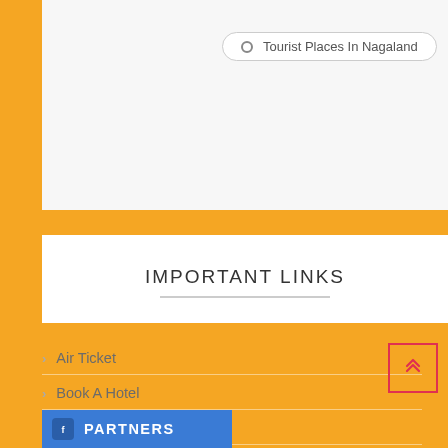Tourist Places In Nagaland
IMPORTANT LINKS
Air Ticket
Book A Hotel
We Are Hiring
Share Your Travel Experience
PARTNERS